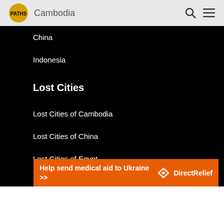Cambodia
China
Indonesia
Lost Cities
Lost Cities of Cambodia
Lost Cities of China
Lost Cities of Egypt
Lost Cities of India
[Figure (infographic): Orange advertisement banner: Help send medical aid to Ukraine >> with Direct Relief logo]